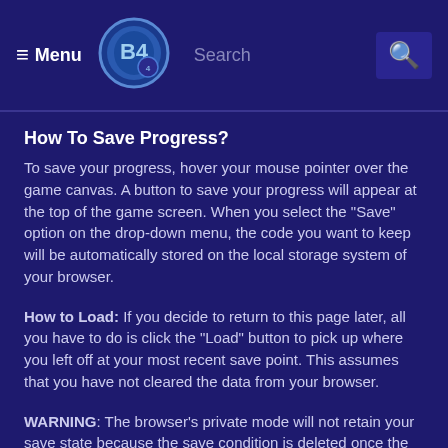≡Menu | [Logo] | Search | 🔍
How To Save Progress?
To save your progress, hover your mouse pointer over the game canvas. A button to save your progress will appear at the top of the game screen. When you select the "Save" option on the drop-down menu, the code you want to keep will be automatically stored on the local storage system of your browser.
How to Load: If you decide to return to this page later, all you have to do is click the "Load" button to pick up where you left off at your most recent save point. This assumes that you have not cleared the data from your browser.
WARNING: The browser's private mode will not retain your save state because the save condition is deleted once the browser is shut. If you want to create use of the save, you should avoid